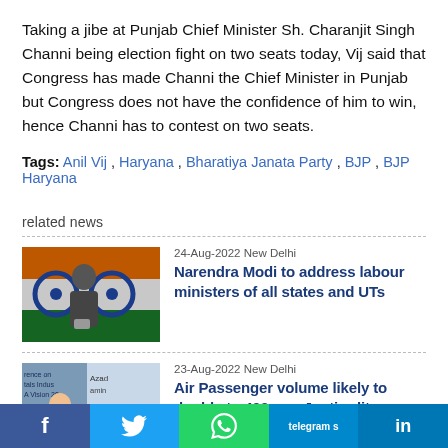Taking a jibe at Punjab Chief Minister Sh. Charanjit Singh Channi being election fight on two seats today, Vij said that Congress has made Channi the Chief Minister in Punjab but Congress does not have the confidence of him to win, hence Channi has to contest on two seats.
Tags: Anil Vij , Haryana , Bharatiya Janata Party , BJP , BJP Haryana
related news
[Figure (photo): Photo of Narendra Modi at podium with Indian flag backdrop]
24-Aug-2022 New Delhi
Narendra Modi to address labour ministers of all states and UTs
[Figure (photo): Photo of Jyotiraditya Scindia at a conference]
23-Aug-2022 New Delhi
Air Passenger volume likely to double to 400mn : Jyotiraditya Scindia